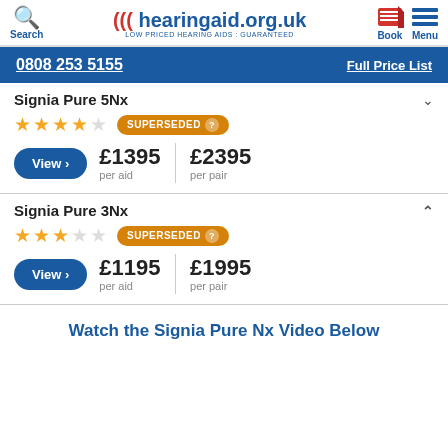hearingaid.org.uk - LOW PRICED HEARING AIDS : GUARANTEED
0808 253 5155 | Full Price List
Signia Pure 5Nx
4 stars - SUPERSEDED
View > £1395 per aid | £2395 per pair
Signia Pure 3Nx
3 stars - SUPERSEDED
View > £1195 per aid | £1995 per pair
Watch the Signia Pure Nx Video Below